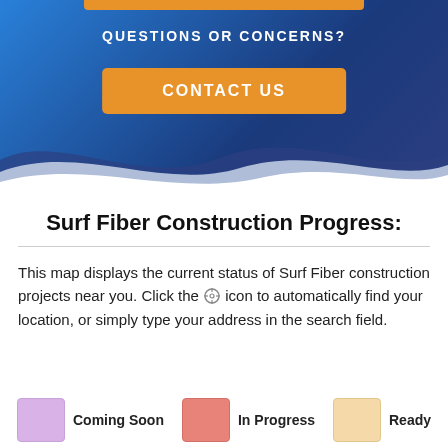[Figure (illustration): Blue gradient hero banner with wave decoration, orange bar at top, 'QUESTIONS OR CONCERNS?' heading, and an orange 'CONTACT US' button]
Surf Fiber Construction Progress:
This map displays the current status of Surf Fiber construction projects near you. Click the [crosshair] icon to automatically find your location, or simply type your address in the search field.
Coming Soon
In Progress
Ready